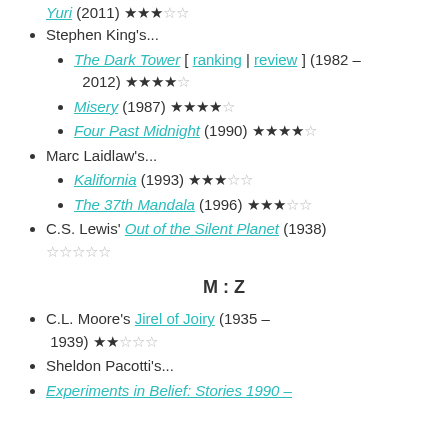Yuri (2011) ★★★☆☆
Stephen King's...
The Dark Tower [ ranking | review ] (1982 – 2012) ★★★★☆
Misery (1987) ★★★★☆
Four Past Midnight (1990) ★★★★☆
Marc Laidlaw's...
Kalifornia (1993) ★★★☆☆
The 37th Mandala (1996) ★★★☆☆
C.S. Lewis' Out of the Silent Planet (1938) ☆☆☆☆☆
M : Z
C.L. Moore's Jirel of Joiry (1935 – 1939) ★★☆☆☆
Sheldon Pacotti's...
Experiments in Belief: Stories 1990 –